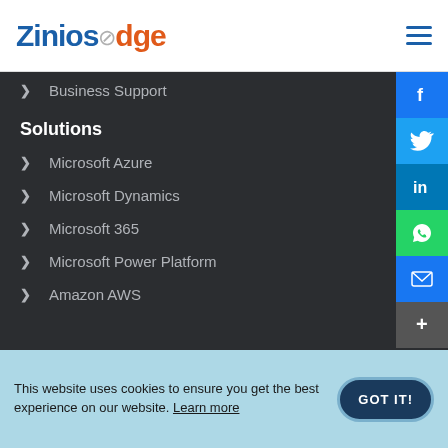Zinios edge
Business Support
Solutions
Microsoft Azure
Microsoft Dynamics
Microsoft 365
Microsoft Power Platform
Amazon AWS
This website uses cookies to ensure you get the best experience on our website. Learn more